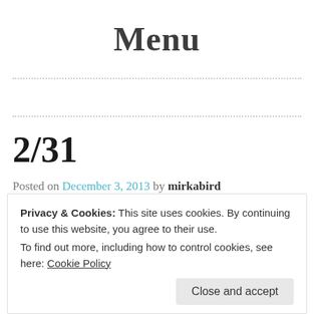Menu
2/31
Posted on December 3, 2013 by mirkabird
Privacy & Cookies: This site uses cookies. By continuing to use this website, you agree to their use. To find out more, including how to control cookies, see here: Cookie Policy
Close and accept
There was also a deer spotting, because on my path there